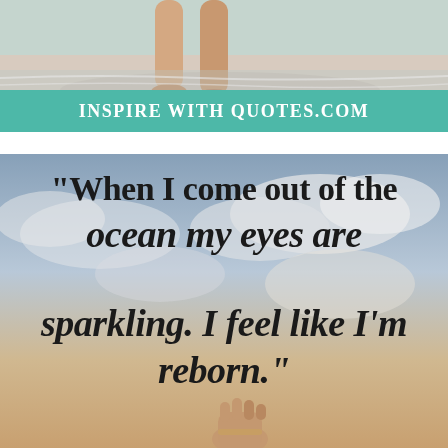[Figure (photo): Top portion showing sandy beach with person's legs/feet walking on wet sand near ocean]
Inspire With Quotes.com
[Figure (photo): Background photo of sky with clouds and a raised fist/hand, beach/ocean scene at sunset with warm orange tones]
“When I come out of the ocean my eyes are sparkling. I feel like I’m reborn.”